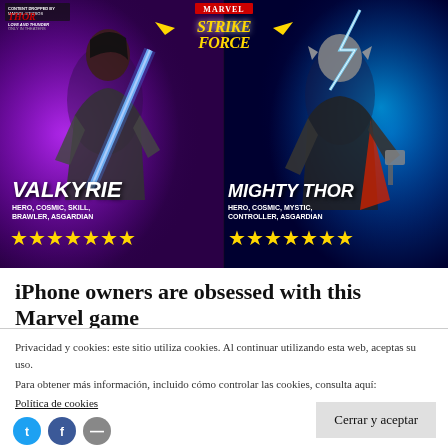[Figure (illustration): Marvel Strike Force promotional image showing two characters: Valkyrie (left) with a blue sword, labeled HERO, COSMIC, SKILL, BRAWLER, ASGARDIAN with 7 gold stars; and Mighty Thor (right) with lightning, labeled HERO, COSMIC, MYSTIC, CONTROLLER, ASGARDIAN with 7 gold stars. Thor: Love and Thunder movie co-branding shown top-left. Marvel Strike Force logo shown top-center.]
iPhone owners are obsessed with this Marvel game
Privacidad y cookies: este sitio utiliza cookies. Al continuar utilizando esta web, aceptas su uso.
Para obtener más información, incluido cómo controlar las cookies, consulta aquí:
Política de cookies
Cerrar y aceptar